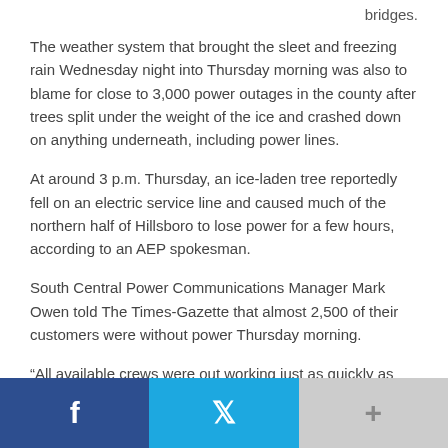bridges.
The weather system that brought the sleet and freezing rain Wednesday night into Thursday morning was also to blame for close to 3,000 power outages in the county after trees split under the weight of the ice and crashed down on anything underneath, including power lines.
At around 3 p.m. Thursday, an ice-laden tree reportedly fell on an electric service line and caused much of the northern half of Hillsboro to lose power for a few hours, according to an AEP spokesman.
South Central Power Communications Manager Mark Owen told The Times-Gazette that almost 2,500 of their customers were without power Thursday morning.
“All available crews were out working just as quickly as they could given the weather conditions,” he said.
[Figure (other): Social sharing bar with Facebook, Twitter, and more buttons]